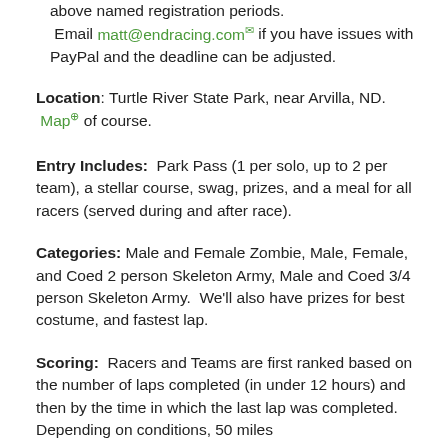above named registration periods. Email matt@endracing.com if you have issues with PayPal and the deadline can be adjusted.
Location: Turtle River State Park, near Arvilla, ND. Map of course.
Entry Includes: Park Pass (1 per solo, up to 2 per team), a stellar course, swag, prizes, and a meal for all racers (served during and after race).
Categories: Male and Female Zombie, Male, Female, and Coed 2 person Skeleton Army, Male and Coed 3/4 person Skeleton Army. We'll also have prizes for best costume, and fastest lap.
Scoring: Racers and Teams are first ranked based on the number of laps completed (in under 12 hours) and then by the time in which the last lap was completed. Depending on conditions, 50 miles